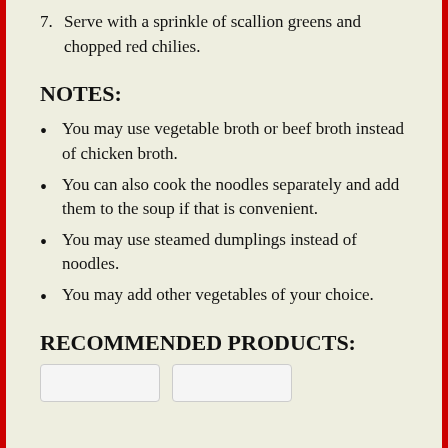7. Serve with a sprinkle of scallion greens and chopped red chilies.
NOTES:
You may use vegetable broth or beef broth instead of chicken broth.
You can also cook the noodles separately and add them to the soup if that is convenient.
You may use steamed dumplings instead of noodles.
You may add other vegetables of your choice.
RECOMMENDED PRODUCTS: